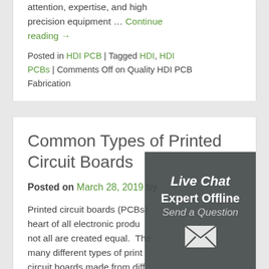attention, expertise, and high precision equipment … Continue reading →
Posted in HDI PCB | Tagged HDI, HDI PCBs | Comments Off on Quality HDI PCB Fabrication
Common Types of Printed Circuit Boards
Posted on March 28, 2019 by
Printed circuit boards (PCBs) are at the heart of all electronic products, but not all are created equal. There are many different types of printed circuit boards made from different materials and manufacturing specifications for a broad range of
[Figure (screenshot): Live Chat widget overlay showing 'Live Chat', 'Expert Offline', 'Send a Question' text and an envelope icon on a dark semi-transparent background with circuit board pattern]